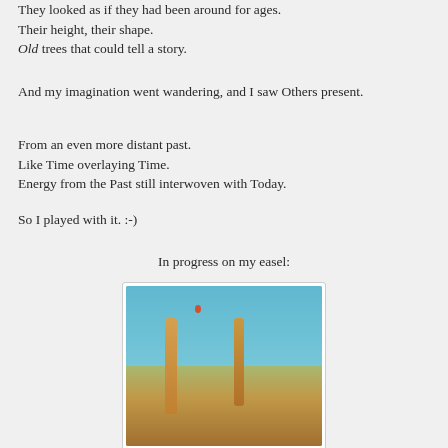They looked as if they had been around for ages.
Their height, their shape.
Old trees that could tell a story.
And my imagination went wandering, and I saw Others present.
From an even more distant past.
Like Time overlaying Time.
Energy from the Past still interwoven with Today.
So I played with it. :-)
In progress on my easel:
[Figure (photo): A painting in progress on an easel, showing a blue sky with golden trees and a small figure, in an artist's studio.]